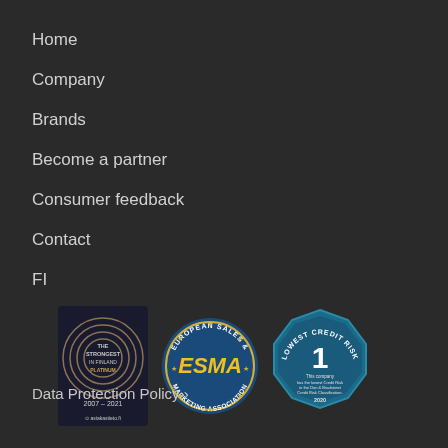Home
Company
Brands
Become a partner
Consumer feedback
Contact
FI
[Figure (logo): The Strongest in Finland Platinum badge, 2007-2021, asiakastieto.fi]
[Figure (logo): European Sales & Marketing Association (ESMA) circular badge]
[Figure (logo): Lowest Credit Risk badge, rating 1, Dun & Bradstreet 2020]
Data Protection Policy ›